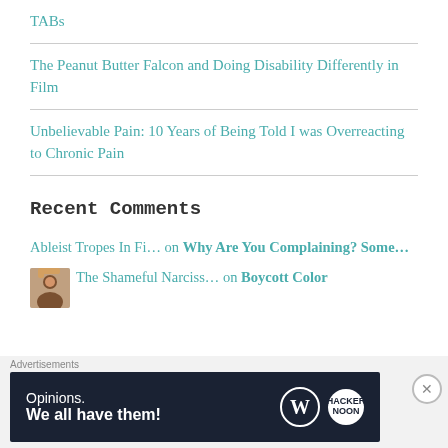TABs
The Peanut Butter Falcon and Doing Disability Differently in Film
Unbelievable Pain: 10 Years of Being Told I was Overreacting to Chronic Pain
Recent Comments
Ableist Tropes In Fi… on Why Are You Complaining? Some…
The Shameful Narciss… on Boycott Color
[Figure (infographic): WordPress advertisement banner with text 'Opinions. We all have them!' and WordPress and HackerNoon logos]
Advertisements